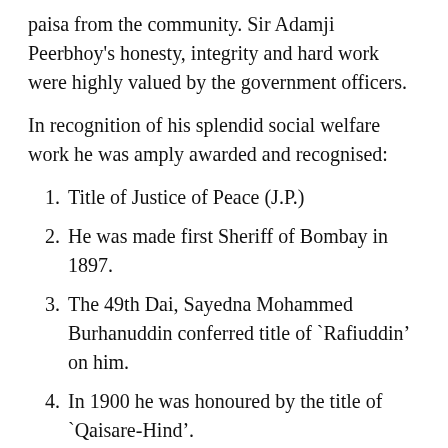paisa from the community. Sir Adamji Peerbhoy's honesty, integrity and hard work were highly valued by the government officers.
In recognition of his splendid social welfare work he was amply awarded and recognised:
1. Title of Justice of Peace (J.P.)
2. He was made first Sheriff of Bombay in 1897.
3. The 49th Dai, Sayedna Mohammed Burhanuddin conferred title of `Rafiuddin' on him.
4. In 1900 he was honoured by the title of `Qaisare-Hind'.
5. In 1907 he was made a knight and given the